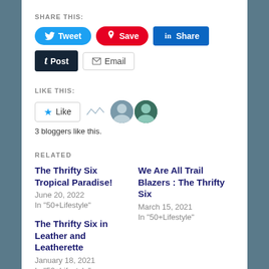SHARE THIS:
Tweet  Save  Share  Post  Email
LIKE THIS:
Like  3 bloggers like this.
RELATED
The Thrifty Six Tropical Paradise!
June 20, 2022
In "50+Lifestyle"
We Are All Trail Blazers : The Thrifty Six
March 15, 2021
In "50+Lifestyle"
The Thrifty Six in Leather and Leatherette
January 18, 2021
In "50+Lifestyle"